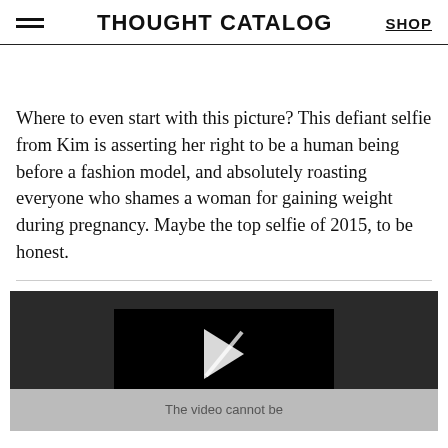THOUGHT CATALOG  SHOP
Where to even start with this picture? This defiant selfie from Kim is asserting her right to be a human being before a fashion model, and absolutely roasting everyone who shames a woman for gaining weight during pregnancy. Maybe the top selfie of 2015, to be honest.
[Figure (screenshot): Embedded video player with dark background showing a play button icon with a diagonal slash, and text 'The video cannot be' at the bottom on a grey bar.]